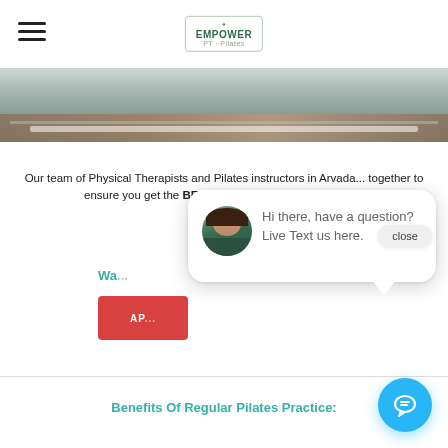[Figure (screenshot): Navigation bar with hamburger menu icon on left and Empower PT Pilates logo in center]
[Figure (photo): Partial hero image showing a Pilates reformer machine on a wooden floor]
Our team of Physical Therapists and Pilates instructors in Arvad... together to ensure you get the BEST and most expert instruction...
Wa...
[Figure (screenshot): Red appointment button partially visible with text AP...]
[Figure (screenshot): Chat popup with avatar photo of woman with dark hair, text: Hi there, have a question? Live Text us here.]
close
Benefits Of Regular Pilates Practice: